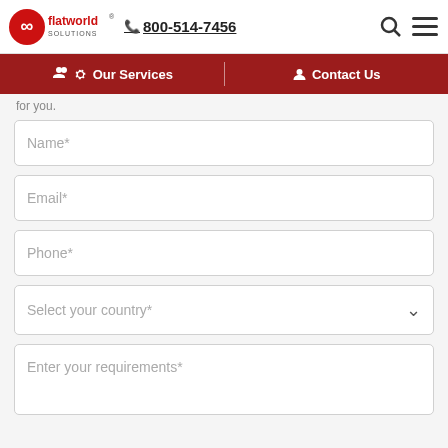flatworld solutions 800-514-7456
Our Services | Contact Us
for you.
Name*
Email*
Phone*
Select your country*
Enter your requirements*